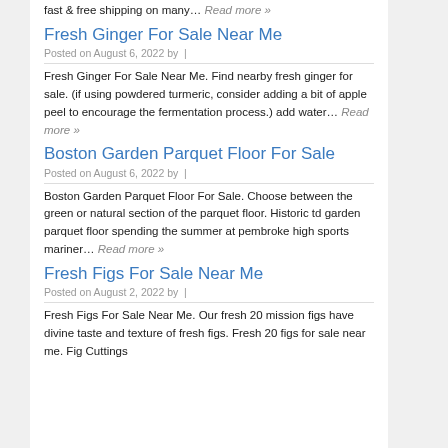fast & free shipping on many… Read more »
Fresh Ginger For Sale Near Me
Posted on August 6, 2022 by |
Fresh Ginger For Sale Near Me. Find nearby fresh ginger for sale. (if using powdered turmeric, consider adding a bit of apple peel to encourage the fermentation process.) add water… Read more »
Boston Garden Parquet Floor For Sale
Posted on August 6, 2022 by |
Boston Garden Parquet Floor For Sale. Choose between the green or natural section of the parquet floor. Historic td garden parquet floor spending the summer at pembroke high sports mariner… Read more »
Fresh Figs For Sale Near Me
Posted on August 2, 2022 by |
Fresh Figs For Sale Near Me. Our fresh 20 mission figs have divine taste and texture of fresh figs. Fresh 20 figs for sale near me. Fig Cuttings